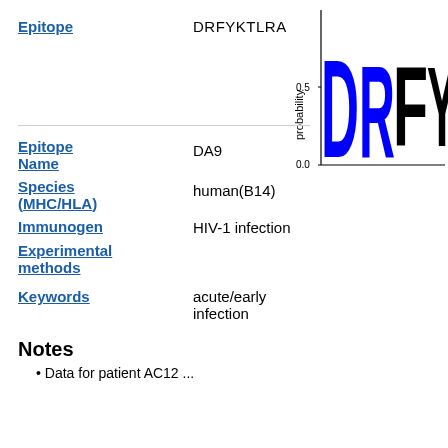Epitope: DRFYKTLRA
[Figure (other): Sequence logo / probability plot showing letter heights for epitope DRFY..., y-axis labeled 'probability' from 0.0 to 1.0 (0.5 tick shown), letters D, R, F, Y visible in blue and black]
Epitope Name: DA9
Species (MHC/HLA): human(B14)
Immunogen: HIV-1 infection
Experimental methods:
Keywords: acute/early infection
Notes
Data for patient AC12 ...